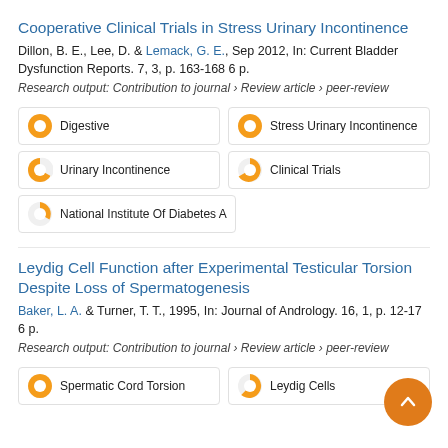Cooperative Clinical Trials in Stress Urinary Incontinence
Dillon, B. E., Lee, D. & Lemack, G. E., Sep 2012, In: Current Bladder Dysfunction Reports. 7, 3, p. 163-168 6 p.
Research output: Contribution to journal › Review article › peer-review
[Figure (infographic): Five keyword badges with pie chart icons: Digestive (100%), Stress Urinary Incontinence (100%), Urinary Incontinence (~80%), Clinical Trials (~65%), National Institute Of Diabetes A (~35%)]
Leydig Cell Function after Experimental Testicular Torsion Despite Loss of Spermatogenesis
Baker, L. A. & Turner, T. T., 1995, In: Journal of Andrology. 16, 1, p. 12-17 6 p.
Research output: Contribution to journal › Review article › peer-review
[Figure (infographic): Keyword badges with pie chart icons: Spermatic Cord Torsion (100%), Leydig Cells (~75%)]